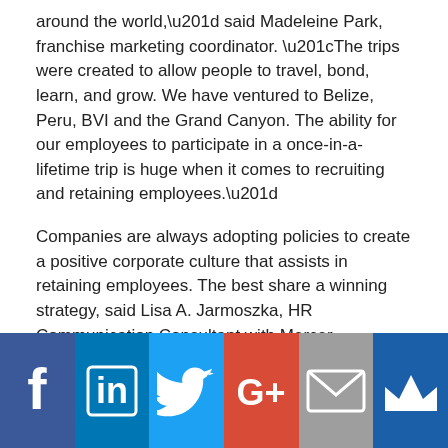around the world,” said Madeleine Park, franchise marketing coordinator. “The trips were created to allow people to travel, bond, learn, and grow. We have ventured to Belize, Peru, BVI and the Grand Canyon. The ability for our employees to participate in a once-in-a-lifetime trip is huge when it comes to recruiting and retaining employees.”
Companies are always adopting policies to create a positive corporate culture that assists in retaining employees. The best share a winning strategy, said Lisa A. Jarmoszka, HR Communication Consultant with Mercer PeoplePro, an on-demand HR and benefits consulting service for small and midsize businesses. “The bottom line is that a lot of the gimmicky stuff—like hosting free happy hours and having a pool table in the office—simply isn’t what makes the good people stay. It is positive culture and exemplary leadership/management.”
[Figure (infographic): Social media sharing bar with six icons: Facebook (blue), LinkedIn (blue), Twitter (light blue), Google+ (red/orange), Email (grey), Crown/bookmark (dark blue)]